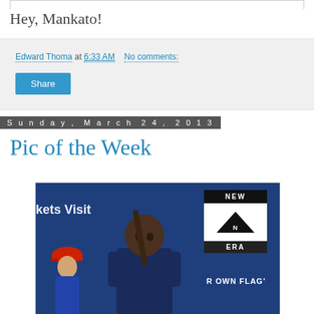Hey, Mankato!
Edward Thoma at 6:33 AM   No comments:
Share
Sunday, March 24, 2013
Pic of the Week
[Figure (photo): Baseball player in dugout holding a bat, with New Era cap advertisement sign in background and partial 'tickets Visit' banner text, blue dugout backdrop with another player in red hat visible in background]